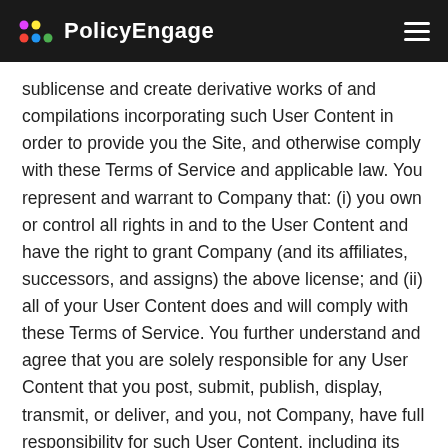PolicyEngage
sublicense and create derivative works of and compilations incorporating such User Content in order to provide you the Site, and otherwise comply with these Terms of Service and applicable law. You represent and warrant to Company that: (i) you own or control all rights in and to the User Content and have the right to grant Company (and its affiliates, successors, and assigns) the above license; and (ii) all of your User Content does and will comply with these Terms of Service. You further understand and agree that you are solely responsible for any User Content that you post, submit, publish, display, transmit, or deliver, and you, not Company, have full responsibility for such User Content, including its legality, reliability, accuracy, and appropriateness. Company is not responsible or liable to you or any third party for the content or accuracy of any User Content posted by you or